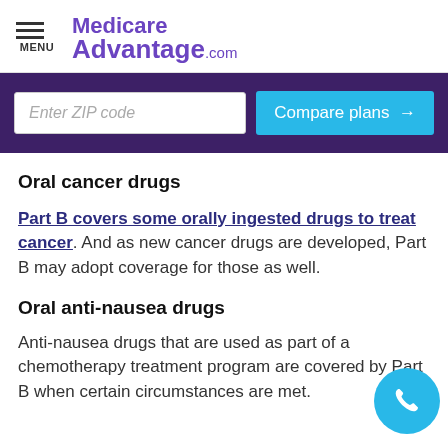MENU MedicareAdvantage.com
Enter ZIP code | Compare plans →
Oral cancer drugs
Part B covers some orally ingested drugs to treat cancer. And as new cancer drugs are developed, Part B may adopt coverage for those as well.
Oral anti-nausea drugs
Anti-nausea drugs that are used as part of a chemotherapy treatment program are covered by Part B when certain circumstances are met.